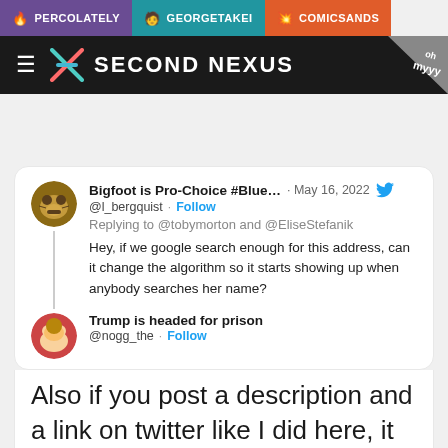PERCOLATELY | GEORGETAKEI | COMICSANDS
[Figure (logo): Second Nexus website header with logo and navigation]
[Figure (screenshot): Tweet from @l_bergquist (Bigfoot is Pro-Choice #Blue...) May 16, 2022, replying to @tobymorton and @EliseStefanik: Hey, if we google search enough for this address, can it change the algorithm so it starts showing up when anybody searches her name?]
[Figure (screenshot): Tweet from @nogg_the (Trump is headed for prison): Also if you post a description and a link on twitter like I did here, it will drive it up the search results]